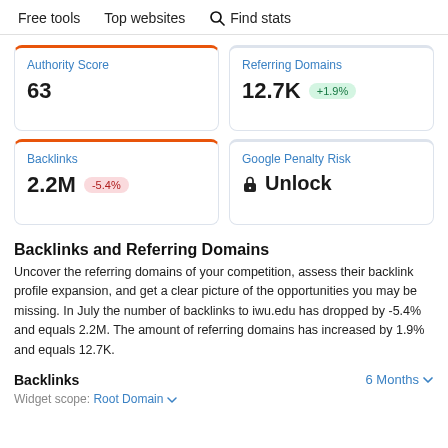Free tools   Top websites   🔍 Find stats
Authority Score
63
Referring Domains
12.7K +1.9%
Backlinks
2.2M -5.4%
Google Penalty Risk
🔒 Unlock
Backlinks and Referring Domains
Uncover the referring domains of your competition, assess their backlink profile expansion, and get a clear picture of the opportunities you may be missing. In July the number of backlinks to iwu.edu has dropped by -5.4% and equals 2.2M. The amount of referring domains has increased by 1.9% and equals 12.7K.
Backlinks   6 Months ∨
Widget scope: Root Domain ∨